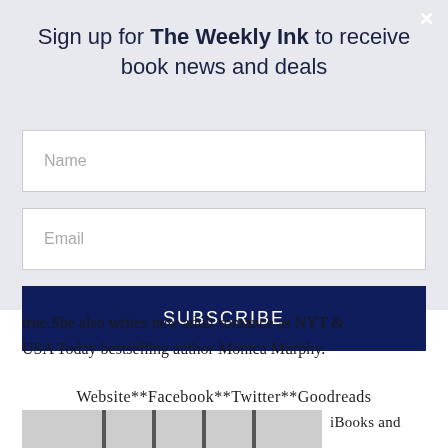Sign up for The Weekly Ink to receive book news and deals
Name
Email
SUBSCRIBE
true.She also writes new adult romance as NYT & USA Today bestselling author Monica Murphy.
Website**Facebook**Twitter**Goodreads
iBooks and International Bestselling Author